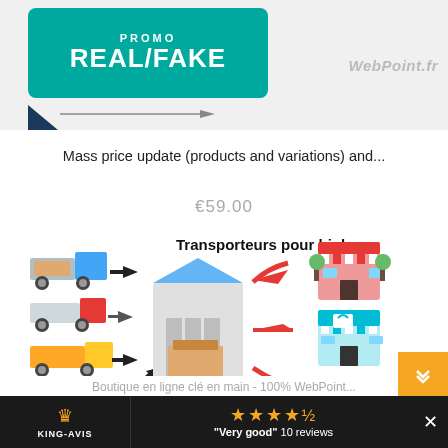[Figure (illustration): Promo REAL/FAKE banner with teal background shape, dark blue triangle and WebPoint.fr watermark on grey background]
Mass price update (products and variations) and...
€59.00
[Figure (infographic): Infographic showing transporteurs pour bigbuy: multiple trucks with arrows pointing to a warehouse, then arrows pointing to three store icons on the right]
Boutique en ligne clé en main - 100% WebPoint...
KING-AVIS  ★★★★½  "Very good" 10 reviews  ✕